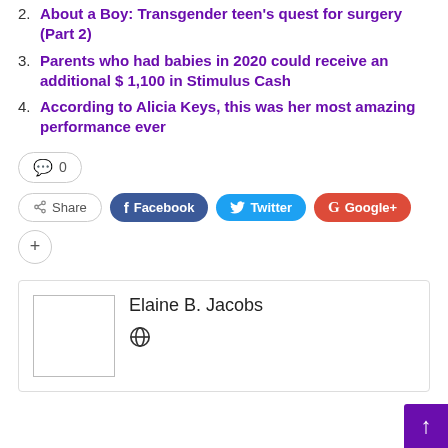2. About a Boy: Transgender teen's quest for surgery (Part 2)
3. Parents who had babies in 2020 could receive an additional $ 1,100 in Stimulus Cash
4. According to Alicia Keys, this was her most amazing performance ever
0 (comment count)
Share | Facebook | Twitter | Google+
Elaine B. Jacobs